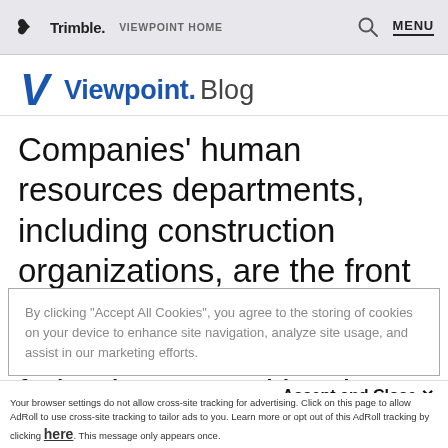Trimble. VIEWPOINT HOME | MENU
Viewpoint. Blog
Companies' human resources departments, including construction organizations, are the front lines of DEI efforts — they must adhere to a number of federal, state and local
By clicking "Accept All Cookies", you agree to the storing of cookies on your device to enhance site navigation, analyze site usage, and assist in our marketing efforts.
Accept and Close ✕
Your browser settings do not allow cross-site tracking for advertising. Click on this page to allow AdRoll to use cross-site tracking to tailor ads to you. Learn more or opt out of this AdRoll tracking by clicking here. This message only appears once.